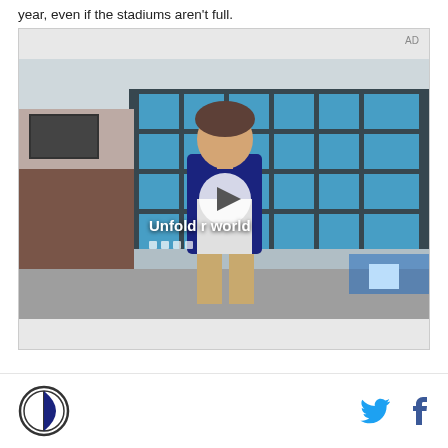year, even if the stadiums aren't full.
[Figure (screenshot): Video advertisement thumbnail showing a young man in a denim jacket walking through what appears to be a school cafeteria. Text overlay reads 'Unfold your world' with a play button. AD label in top right corner.]
Site logo (circle with half-filled design) on left; Twitter and Facebook share icons on right